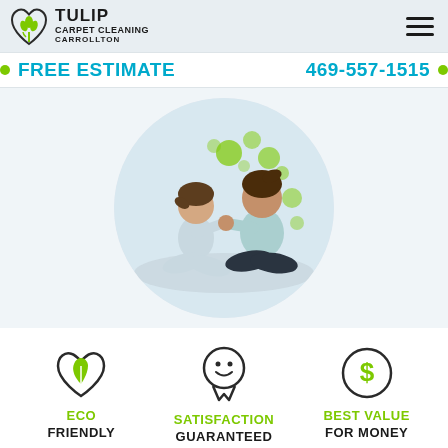[Figure (logo): Tulip Carpet Cleaning Carrollton logo with tulip flower icon]
FREE ESTIMATE   469-557-1515
[Figure (photo): Mother and daughter sitting on carpet playing together, with green bubble decorations in background, shown in circular crop]
[Figure (infographic): Three icons: ECO FRIENDLY (heart with leaf), SATISFACTION GUARANTEED (smiley face award), BEST VALUE FOR MONEY (dollar sign circle)]